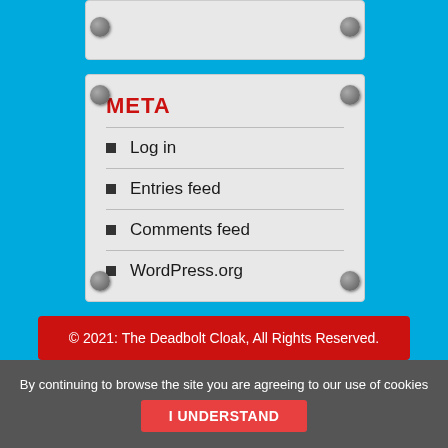META
Log in
Entries feed
Comments feed
WordPress.org
© 2021: The Deadbolt Cloak, All Rights Reserved.
By continuing to browse the site you are agreeing to our use of cookies